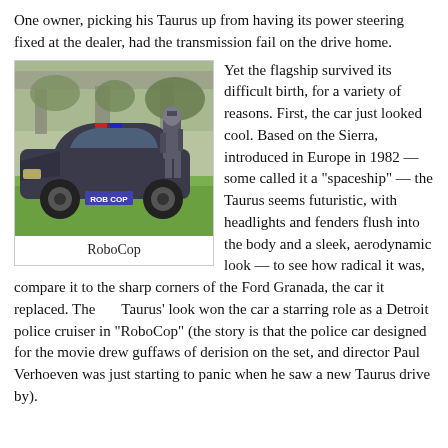One owner, picking his Taurus up from having its power steering fixed at the dealer, had the transmission fail on the drive home.
[Figure (photo): A Ford Taurus police cruiser with a RoboCop figure standing behind it, on grass with trees and a bridge in background. License plate reads 'ROB COP'.]
RoboCop
Yet the flagship survived its difficult birth, for a variety of reasons. First, the car just looked cool. Based on the Sierra, introduced in Europe in 1982 — some called it a "spaceship" — the Taurus seems futuristic, with headlights and fenders flush into the body and a sleek, aerodynamic look — to see how radical it was, compare it to the sharp corners of the Ford Granada, the car it replaced. The      Taurus' look won the car a starring role as a Detroit police cruiser in "RoboCop" (the story is that the police car designed for the movie drew guffaws of derision on the set, and director Paul Verhoeven was just starting to panic when he saw a new Taurus drive by).